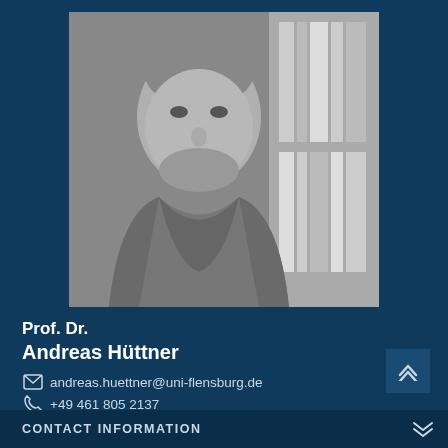[Figure (photo): Black and white portrait photo of Prof. Dr. Andreas Hüttner, a middle-aged man with short grey hair and beard, wearing a jacket, with bookshelves in the background.]
Prof. Dr.
Andreas Hüttner
andreas.huettner@uni-flensburg.de
+49 461 805 2137
Gebäude Oslo - OSL 060
CONTACT INFORMATION